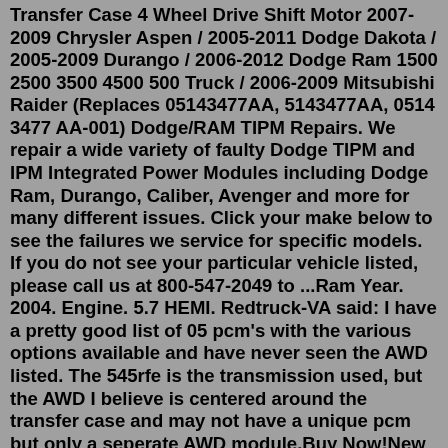Transfer Case 4 Wheel Drive Shift Motor 2007-2009 Chrysler Aspen / 2005-2011 Dodge Dakota / 2005-2009 Durango / 2006-2012 Dodge Ram 1500 2500 3500 4500 500 Truck / 2006-2009 Mitsubishi Raider (Replaces 05143477AA, 5143477AA, 0514 3477 AA-001) Dodge/RAM TIPM Repairs. We repair a wide variety of faulty Dodge TIPM and IPM Integrated Power Modules including Dodge Ram, Durango, Caliber, Avenger and more for many different issues. Click your make below to see the failures we service for specific models. If you do not see your particular vehicle listed, please call us at 800-547-2049 to ...Ram Year. 2004. Engine. 5.7 HEMI. Redtruck-VA said: I have a pretty good list of 05 pcm's with the various options available and have never seen the AWD listed. The 545rfe is the transmission used, but the AWD I believe is centered around the transfer case and may not have a unique pcm but only a seperate AWD module.Buy Now!New Transfer Case Shift Motor from 1AAuto.com http://1aau.to/ia/DMFWM000031A Auto shows you how to repair, install, fix, change or